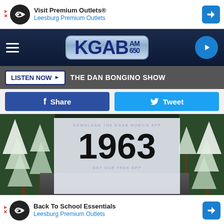[Figure (screenshot): Advertisement banner: Visit Premium Outlets / Leesburg Premium Outlets with infinity logo icon and navigation arrow icon]
[Figure (logo): KGAB AM 650 radio station logo on dark navy navigation bar with hamburger menu and play button]
LISTEN NOW ▶  THE DAN BONGINO SHOW
[Figure (infographic): Facebook Share button and Twitter Tweet button side by side]
[Figure (photo): Snowy winter road with trees, overlaid with DOWNLOAD THE KGAB MOBILE APP banner and large text '1963', and GET OUR FREE APP text]
Canva
5. Jan. 10, 1963
Althou                                                                             est days in                                                                                                         ge
[Figure (screenshot): Advertisement banner: Back To School Essentials / Leesburg Premium Outlets with infinity logo and navigation arrow icon]